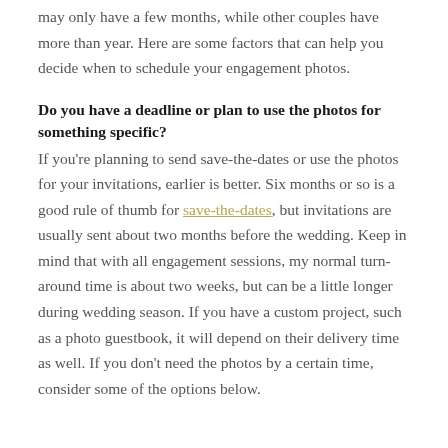may only have a few months, while other couples have more than year. Here are some factors that can help you decide when to schedule your engagement photos.
Do you have a deadline or plan to use the photos for something specific?
If you're planning to send save-the-dates or use the photos for your invitations, earlier is better. Six months or so is a good rule of thumb for save-the-dates, but invitations are usually sent about two months before the wedding. Keep in mind that with all engagement sessions, my normal turn-around time is about two weeks, but can be a little longer during wedding season. If you have a custom project, such as a photo guestbook, it will depend on their delivery time as well. If you don't need the photos by a certain time, consider some of the options below.